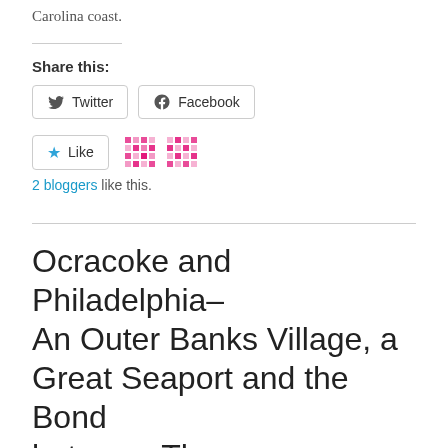Carolina coast.
Share this:
[Figure (other): Twitter and Facebook share buttons]
[Figure (other): Like button with two blogger avatars (pixel/mosaic icons), 2 bloggers like this.]
2 bloggers like this.
Ocracoke and Philadelphia– An Outer Banks Village, a Great Seaport and the Bond between Them
JULY 12, 2019 / 7 COMMENTS